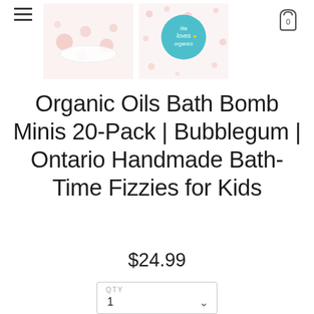[Figure (screenshot): E-commerce product page for Organic Oils Bath Bomb Minis 20-Pack. Top navigation with hamburger menu on left and cart icon (showing 0) on right. Two product thumbnail images below nav. Large product title text, price, and quantity selector.]
Organic Oils Bath Bomb Minis 20-Pack | Bubblegum | Ontario Handmade Bath-Time Fizzies for Kids
$24.99
QTY
1